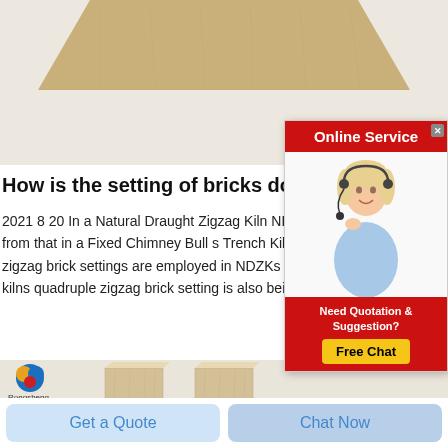[Figure (photo): Top portion of a brick/ceramic material shown as a trapezoid shape on a light background]
How is the setting of bricks done in a N
2021 8 20 In a Natural Draught Zigzag Kiln NDZK the s from that in a Fixed Chimney Bull s Trench Kiln FCBTk zigzag brick settings are employed in NDZKs Now a da kilns quadruple zigzag brick setting is also being practi
[Figure (photo): Two rectangular fire bricks / refractory bricks standing upright on a white background, with Rongsheng logo in top left]
[Figure (infographic): Online Service popup advertisement with red header saying Online Service, a female customer service agent with headset, and a red bottom section saying Need Quotation & Suggestion? with a yellow Free Chat button]
Get a Quote
Chat Now